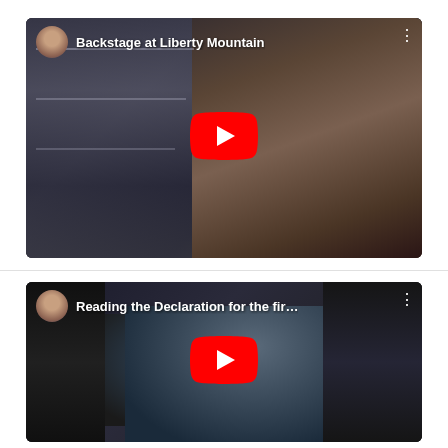[Figure (screenshot): YouTube video thumbnail for 'Backstage at Liberty Mountain' showing a man with long hair smiling, with a YouTube play button overlay and channel avatar in top left]
[Figure (screenshot): YouTube video thumbnail for 'Reading the Declaration for the fir...' showing a person in costume, with a YouTube play button overlay and channel avatar in top left]